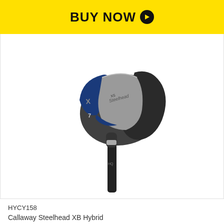[Figure (other): Yellow 'BUY NOW' button bar with arrow icon]
[Figure (photo): Callaway Steelhead XB hybrid golf club head, dark blue and grey, product photo on white background]
HYCY158
Callaway Steelhead XB Hybrid